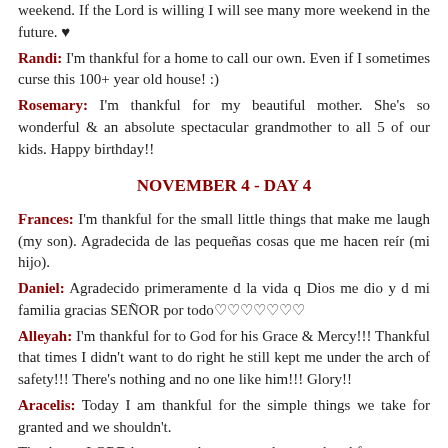weekend. If the Lord is willing I will see many more weekend in the future. ♥
Randi: I'm thankful for a home to call our own. Even if I sometimes curse this 100+ year old house! :)
Rosemary: I'm thankful for my beautiful mother. She's so wonderful & an absolute spectacular grandmother to all 5 of our kids. Happy birthday!!
NOVEMBER 4 - DAY 4
Frances: I'm thankful for the small little things that make me laugh (my son). Agradecida de las pequeñas cosas que me hacen reír (mi hijo).
Daniel: Agradecido primeramente d la vida q Dios me dio y d mi familia gracias SEÑOR por todo♡♡♡♡♡♡♡
Alleyah: I'm thankful for to God for his Grace & Mercy!!! Thankful that times I didn't want to do right he still kept me under the arch of safety!!! There's nothing and no one like him!!! Glory!!
Aracelis: Today I am thankful for the simple things we take for granted and we shouldn't.
Thank you LORD because today we tasted a great breakfast